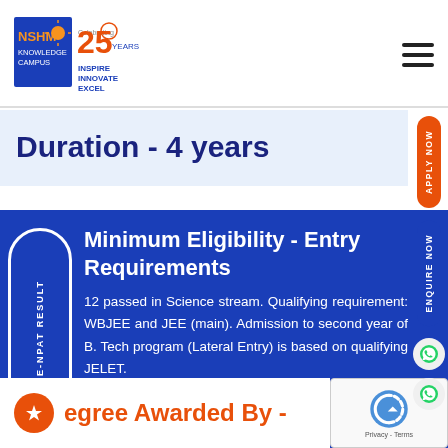[Figure (logo): NSHM Knowledge Campus logo with 25 years celebration badge and tagline INSPIRE INNOVATE EXCEL]
Duration - 4 years
Minimum Eligibility - Entry Requirements
12 passed in Science stream. Qualifying requirement: WBJEE and JEE (main). Admission to second year of B. Tech program (Lateral Entry) is based on qualifying JELET.
Degree Awarded By -